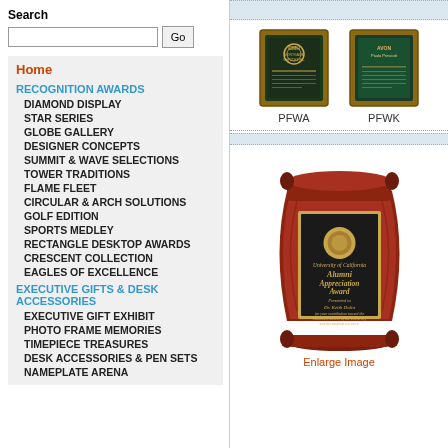Search
[Figure (screenshot): Search input box and Go button]
Home
RECOGNITION AWARDS
DIAMOND DISPLAY
STAR SERIES
GLOBE GALLERY
DESIGNER CONCEPTS
SUMMIT & WAVE SELECTIONS
TOWER TRADITIONS
FLAME FLEET
CIRCULAR & ARCH SOLUTIONS
GOLF EDITION
SPORTS MEDLEY
RECTANGLE DESKTOP AWARDS
CRESCENT COLLECTION
EAGLES OF EXCELLENCE
EXECUTIVE GIFTS & DESK ACCESSORIES
EXECUTIVE GIFT EXHIBIT
PHOTO FRAME MEMORIES
TIMEPIECE TREASURES
DESK ACCESSORIES & PEN SETS
NAMEPLATE ARENA
[Figure (photo): Two small award plaques labeled PFWA and PFWK]
[Figure (photo): Large cherry wood scroll plaque with University of California Alumni Appreciation Award engraving]
Enlarge Image